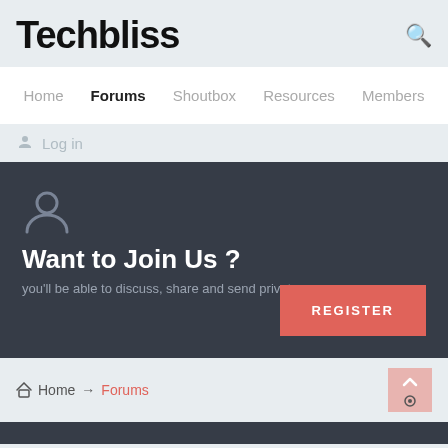Techbliss
Home  Forums  Shoutbox  Resources  Members
Log in
Want to Join Us ?
you'll be able to discuss, share and send private messages.
REGISTER
Home → Forums